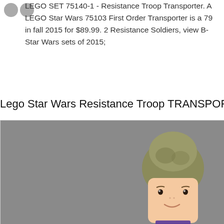LEGO SET 75140-1 - Resistance Troop Transporter. A LEGO Star Wars 75103 First Order Transporter is a 79 in fall 2015 for $89.99. 2 Resistance Soldiers, view B- Star Wars sets of 2015;
Lego Star Wars Resistance Troop TRANSPORTER Au
[Figure (photo): Photo of a LEGO minifigure character with olive/tan hair styled in an updo bun, a light-skinned face with feminine features including small eyes, eyebrows, and a slight smile. The figure appears to be partially cut off at the bottom. Background is solid gray.]